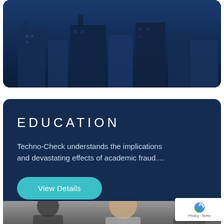[Figure (photo): Dark blue card with building silhouette photograph at top of page, partially visible]
EDUCATION
Techno-Check understands the implications and devastating effects of academic fraud....
View Details
[Figure (photo): Bottom photo showing people laughing/smiling (students), partially visible at bottom of page]